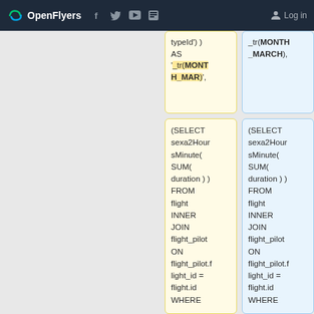OpenFlyers | Log in
typeId') ) AS '_tr(MONTH_MAR)',
_tr(MONTH_MARCH),
(SELECT sexa2HoursMinute( SUM( duration ) ) FROM flight INNER JOIN flight_pilot ON flight_pilot.flight_id = flight.id WHERE
(SELECT sexa2HoursMinute( SUM( duration ) ) FROM flight INNER JOIN flight_pilot ON flight_pilot.flight_id = flight.id WHERE